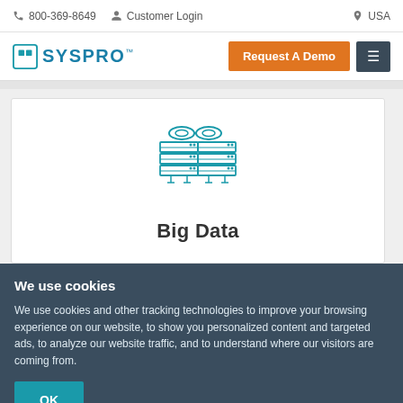800-369-8649   Customer Login   USA
[Figure (logo): SYSPRO logo with teal square icon and blue text]
[Figure (illustration): Big Data icon: two server stacks connected by a chain link]
Big Data
We use cookies
We use cookies and other tracking technologies to improve your browsing experience on our website, to show you personalized content and targeted ads, to analyze our website traffic, and to understand where our visitors are coming from.